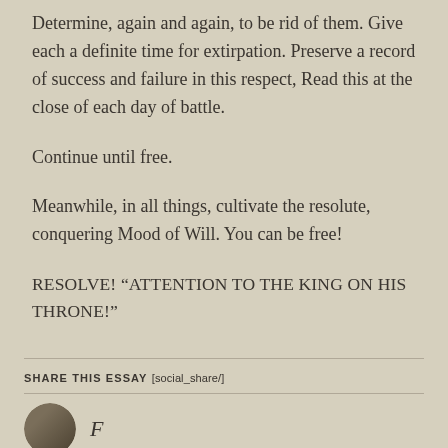Determine, again and again, to be rid of them. Give each a definite time for extirpation. Preserve a record of success and failure in this respect, Read this at the close of each day of battle.
Continue until free.
Meanwhile, in all things, cultivate the resolute, conquering Mood of Will. You can be free!
RESOLVE! “ATTENTION TO THE KING ON HIS THRONE!”
SHARE THIS ESSAY [social_share/]
[Figure (photo): Small circular avatar photo of a person, partially visible at the bottom of the page, alongside italic text beginning with 'F']